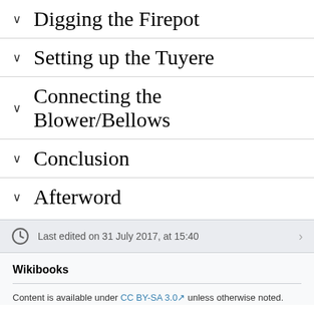Digging the Firepot
Setting up the Tuyere
Connecting the Blower/Bellows
Conclusion
Afterword
Last edited on 31 July 2017, at 15:40
Wikibooks
Content is available under CC BY-SA 3.0 unless otherwise noted.